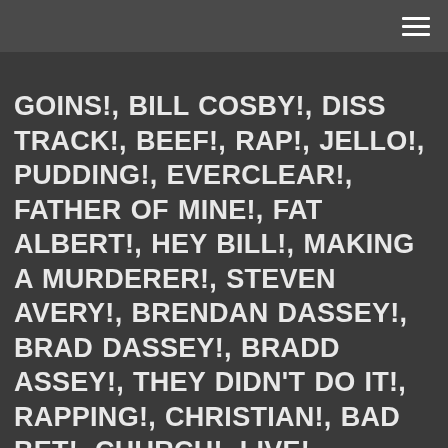GOINS!, BILL COSBY!, DISS TRACK!, BEEF!, RAP!, JELLO!, PUDDING!, EVERCLEAR!, FATHER OF MINE!, FAT ALBERT!, HEY BILL!, MAKING A MURDERER!, STEVEN AVERY!, BRENDAN DASSEY!, BRAD DASSEY!, BRADD ASSEY!, THEY DIDN'T DO IT!, RAPPING!, CHRISTIAN!, BAD BET!, CHURCH!, LIVE!, WORLD'S GONE COLD!, SAD!, TRAP!, EMO!, TRUMP!, RALLY!, AMERICA!, PRIDE!, PATRIOTIC!, AWESOME!, STUPID!, PARODY!, ONION!, SOUTH PARK!, CREEPY!, THE NEWSROOM!, FREEDOM!, JEZEBEL!, IDIOCRACY!, PROGRAM!, SUBLIMINAL!, THEY LIVE!, ALIENS!, WASHINGTON DC!, POWER!, PROTECT US!, VIRAL!, POSTS!, HOMELESS!, DUNKIN DONUTS!, LIE!, CONVERSATION!, CRUMPLED NOTE!, SUICIDE!, KILL YOURSELF!, COFFEE!,